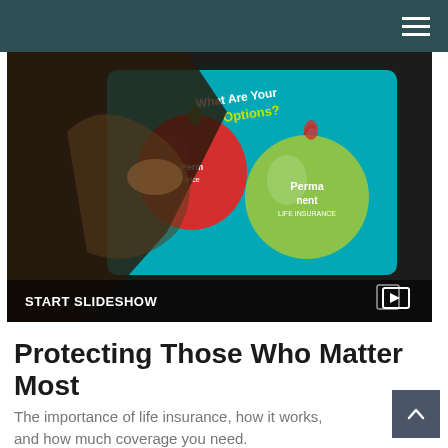[Figure (screenshot): A slideshow thumbnail showing a hand touching a tablet screen with two apple images (red and green) on a teal background, overlaid with text 'What Are Your Options?' and 'Permanent Life Insurance'. A black bar at the bottom reads 'START SLIDESHOW' with a slideshow icon.]
Protecting Those Who Matter Most
The importance of life insurance, how it works, and how much coverage you need.